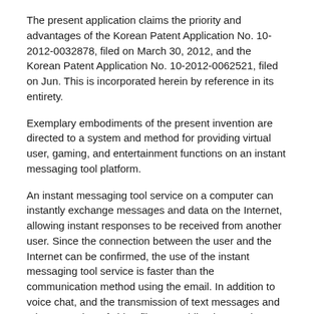The present application claims the priority and advantages of the Korean Patent Application No. 10-2012-0032878, filed on March 30, 2012, and the Korean Patent Application No. 10-2012-0062521, filed on Jun. This is incorporated herein by reference in its entirety.
Exemplary embodiments of the present invention are directed to a system and method for providing virtual user, gaming, and entertainment functions on an instant messaging tool platform.
An instant messaging tool service on a computer can instantly exchange messages and data on the Internet, allowing instant responses to be received from another user. Since the connection between the user and the Internet can be confirmed, the use of the instant messaging tool service is faster than the communication method using the email. In addition to voice chat, and the transmission of text messages and a large number of video files to mobile phones, the instant messaging tool service can support a group of chats.
Exemplary embodiments of the present invention provide